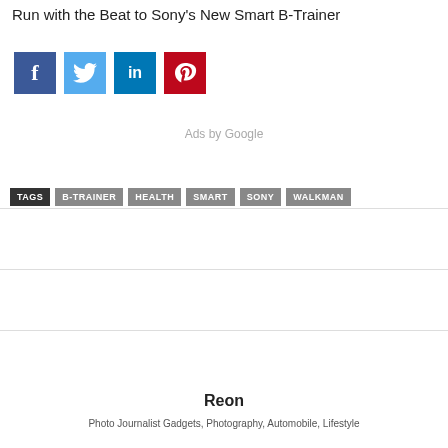Run with the Beat to Sony's New Smart B-Trainer
[Figure (infographic): Social media share buttons: Facebook (blue), Twitter (light blue), LinkedIn (dark blue), Pinterest (red)]
Ads by Google
TAGS  B-TRAINER  HEALTH  SMART  SONY  WALKMAN
Reon
Photo Journalist Gadgets, Photography, Automobile, Lifestyle